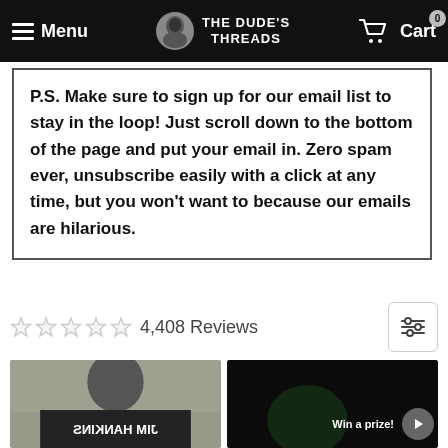Menu | THE DUDE'S THREADS | Cart 0
P.S. Make sure to sign up for our email list to stay in the loop! Just scroll down to the bottom of the page and put your email in. Zero spam ever, unsubscribe easily with a click at any time, but you won't want to because our emails are hilarious.
4,408 Reviews
[Figure (photo): Customer review photo showing a bearded man wearing a black graphic t-shirt with mirrored text reading 'Jim Hankins']
[Figure (photo): Dark video thumbnail of a person, with 'Win a prize!' text overlay and a play button]